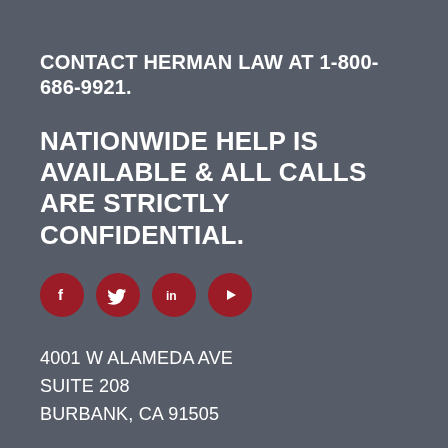CONTACT HERMAN LAW AT 1-800-686-9921.
NATIONWIDE HELP IS AVAILABLE & ALL CALLS ARE STRICTLY CONFIDENTIAL.
[Figure (infographic): Four red circular social media icons: Facebook (f), Twitter (bird), LinkedIn (in), YouTube (play button)]
4001 W ALAMEDA AVE
SUITE 208
BURBANK, CA 91505
Local: 310-312-8218
ALL CALLS ARE STRICTLY CONFIDENTIAL
1 800 686 9921